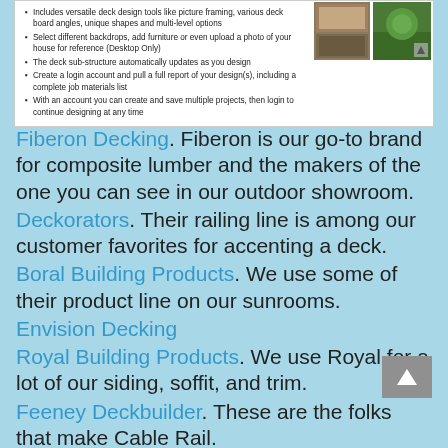Includes versatile deck design tools like picture framing, various deck board angles, unique shapes and multi-level options
Select different backdrops, add furniture or even upload a photo of your house for reference (Desktop Only)
The deck sub-structure automatically updates as you design
Create a login account and pull a full report of your design(s), including a complete job materials list
With an account you can create and save multiple projects, then login to continue designing at any time
Fiberon Decking. Fiberon is our go-to brand for composite lumber and the makers of the one you can see in our outdoor showroom.
Deckorators. Their railing line is among our customer favorites for accenting a deck.
Boral Building Products. We use some of their product line on our sunrooms.
Envision Decking
Royal Building Products. We use Royal for a lot of our siding, soffit, and trim.
Feeney Deckbuilder. These are the folks that make Cable Rail.
Belgard Hardscapes